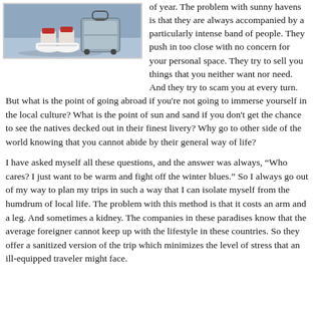[Figure (photo): Feet of a person in white sneakers with red socks standing next to a rolling suitcase on a light blue/gray surface.]
of year. The problem with sunny havens is that they are always accompanied by a particularly intense band of people. They push in too close with no concern for your personal space. They try to sell you things that you neither want nor need. And they try to scam you at every turn.
But what is the point of going abroad if you're not going to immerse yourself in the local culture? What is the point of sun and sand if you don't get the chance to see the natives decked out in their finest livery? Why go to other side of the world knowing that you cannot abide by their general way of life?
I have asked myself all these questions, and the answer was always, “Who cares? I just want to be warm and fight off the winter blues.” So I always go out of my way to plan my trips in such a way that I can isolate myself from the humdrum of local life. The problem with this method is that it costs an arm and a leg. And sometimes a kidney. The companies in these paradises know that the average foreigner cannot keep up with the lifestyle in these countries. So they offer a sanitized version of the trip which minimizes the level of stress that an ill-equipped traveler might face.